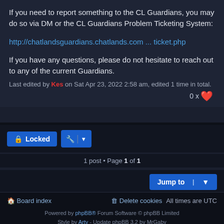If you need to report something to the CL Guardians, you may do so via DM or the CL Guardians Problem Ticketing System:
http://chatlandsguardians.chatlands.com ... ticket.php
If you have any questions, please do not hesitate to reach out to any of the current Guardians.
Last edited by Kes on Sat Apr 23, 2022 2:58 am, edited 1 time in total.
0 x ❤
Locked 🔒  🔧 | ▼
1 post • Page 1 of 1
Jump to | ▼
🏠 Board index   🗑 Delete cookies   All times are UTC
Powered by phpBB® Forum Software © phpBB Limited
Style by Arty - Update phpBB 3.2 by MrGaby
Privacy | Terms